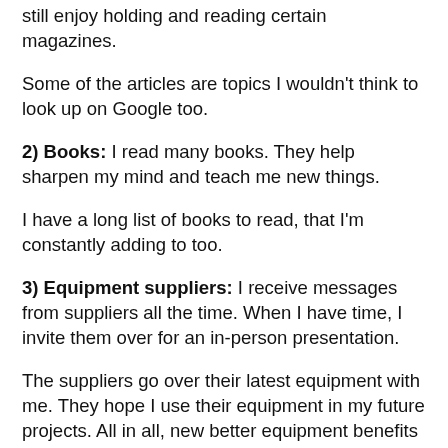still enjoy holding and reading certain magazines.
Some of the articles are topics I wouldn't think to look up on Google too.
2) Books: I read many books. They help sharpen my mind and teach me new things.
I have a long list of books to read, that I'm constantly adding to too.
3) Equipment suppliers: I receive messages from suppliers all the time. When I have time, I invite them over for an in-person presentation.
The suppliers go over their latest equipment with me. They hope I use their equipment in my future projects. All in all, new better equipment benefits